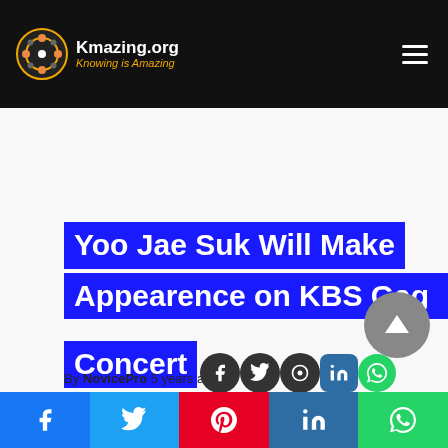Kmazing.org — Knowing is Amazing
Yoo Jae Suk Will Make Appearence on KBS Gag Concert
By NovicePro 5 years ago